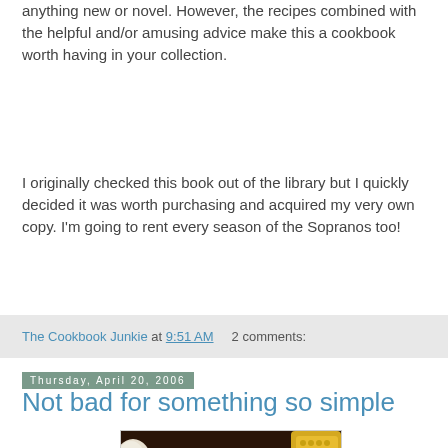anything new or novel. However, the recipes combined with the helpful and/or amusing advice make this a cookbook worth having in your collection.
I originally checked this book out of the library but I quickly decided it was worth purchasing and acquired my very own copy. I'm going to rent every season of the Sopranos too!
The Cookbook Junkie at 9:51 AM   2 comments:
Thursday, April 20, 2006
Not bad for something so simple
[Figure (photo): Close-up photo of cooked meat with caramelized onions on a plate with corn and other sides visible]